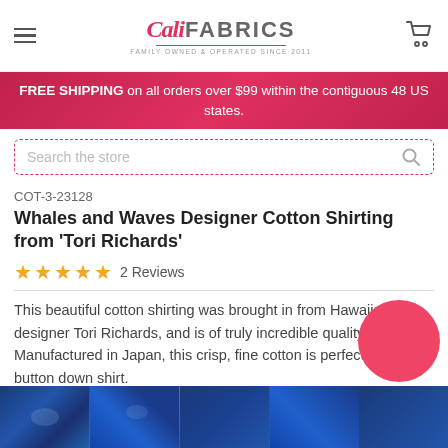[Figure (logo): Cali Fabrics logo — stylized script 'Cali' in pink/red with 'FABRICS' in bold gray, tagline 'Family Owned & Operated Since 2011']
FREE SHIPPING on all orders over $99 within the contiguous 48 US states.
Search the store
COT-3-23128
Whales and Waves Designer Cotton Shirting from 'Tori Richards'
★★★★★ 2 Reviews
This beautiful cotton shirting was brought in from Hawaiian designer Tori Richards, and is of truly incredible quality. Manufactured in Japan, this crisp, fine cotton is perfect for a button down shirt.
[Figure (photo): Bottom strip showing blue fabric with whale and wave pattern in dark navy/indigo tones]